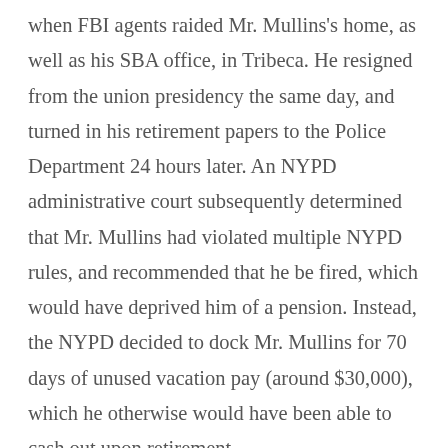when FBI agents raided Mr. Mullins's home, as well as his SBA office, in Tribeca. He resigned from the union presidency the same day, and turned in his retirement papers to the Police Department 24 hours later. An NYPD administrative court subsequently determined that Mr. Mullins had violated multiple NYPD rules, and recommended that he be fired, which would have deprived him of a pension. Instead, the NYPD decided to dock Mr. Mullins for 70 days of unused vacation pay (around $30,000), which he otherwise would have been able to cash out upon retirement. The charges unsealed on Wednesday (for